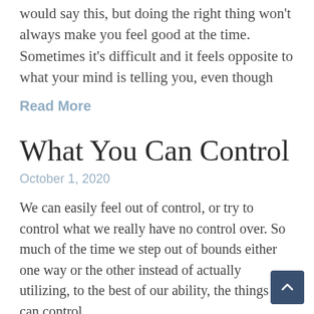would say this, but doing the right thing won't always make you feel good at the time. Sometimes it's difficult and it feels opposite to what your mind is telling you, even though
Read More
What You Can Control
October 1, 2020
We can easily feel out of control, or try to control what we really have no control over. So much of the time we step out of bounds either one way or the other instead of actually utilizing, to the best of our ability, the things we can control.